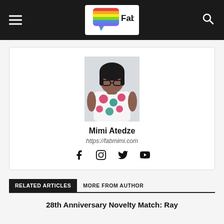Fabmimi
[Figure (photo): Author photo of Mimi Atedze, a woman wearing glasses and a floral dress (white with red and teal flowers)]
Mimi Atedze
https://fabmimi.com
[Figure (infographic): Social media icons: Facebook, Instagram, Twitter, YouTube]
RELATED ARTICLES   MORE FROM AUTHOR
28th Anniversary Novelty Match: Ray